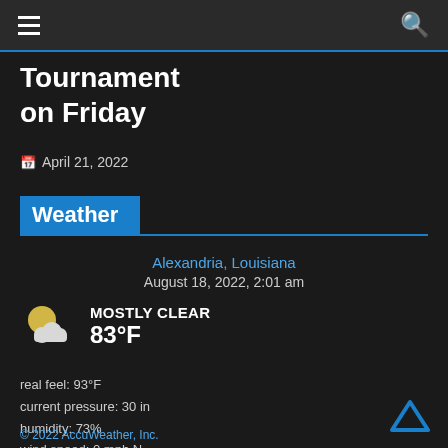≡  [search icon]
Tournament on Friday
📅 April 21, 2022
Weather
Alexandria, Louisiana
August 18, 2022, 2:01 am
MOSTLY CLEAR
83°F
real feel: 93°F
current pressure: 30 in
humidity: 73%
wind speed: 0 mph N
wind gusts: 2 mph
sunrise: 6:38 am
sunset: 7:50 pm
UV Data is delivered by openuv.io
© 2022 AccuWeather, Inc.